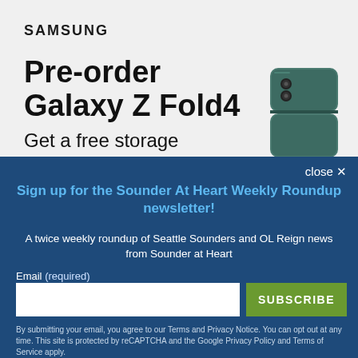[Figure (screenshot): Samsung advertisement background showing light gray area]
SAMSUNG
Pre-order Galaxy Z Fold4
Get a free storage
[Figure (photo): Samsung Galaxy Z Fold4 smartphone in dark green/teal color, showing the folded device]
close ×
Sign up for the Sounder At Heart Weekly Roundup newsletter!
A twice weekly roundup of Seattle Sounders and OL Reign news from Sounder at Heart
Email (required)
SUBSCRIBE
By submitting your email, you agree to our Terms and Privacy Notice. You can opt out at any time. This site is protected by reCAPTCHA and the Google Privacy Policy and Terms of Service apply.